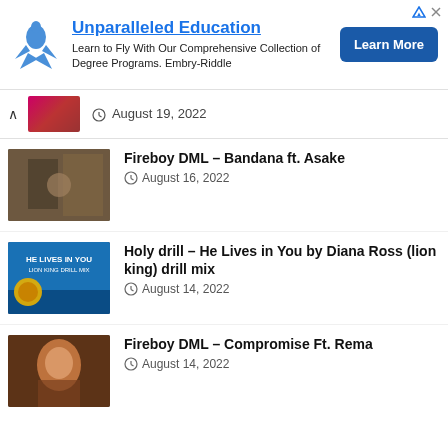[Figure (infographic): Advertisement banner for Embry-Riddle with eagle logo, headline 'Unparalleled Education', description text, and Learn More button]
August 19, 2022
Fireboy DML – Bandana ft. Asake
August 16, 2022
Holy drill – He Lives in You by Diana Ross (lion king) drill mix
August 14, 2022
Fireboy DML – Compromise Ft. Rema
August 14, 2022